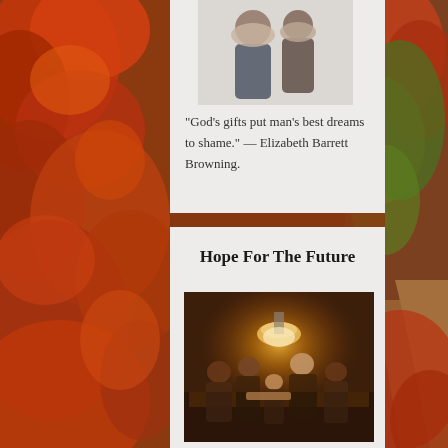[Figure (photo): Autumn foliage background with red and orange trees on left side and a woodland path on the right side]
[Figure (photo): Group of people with hands over face, partially visible at top of content area]
“God’s gifts put man’s best dreams to shame.” — Elizabeth Barrett Browning.
Hope For The Future
[Figure (photo): Family or group of people gathered around a table reading by warm lamp light in a dark room]